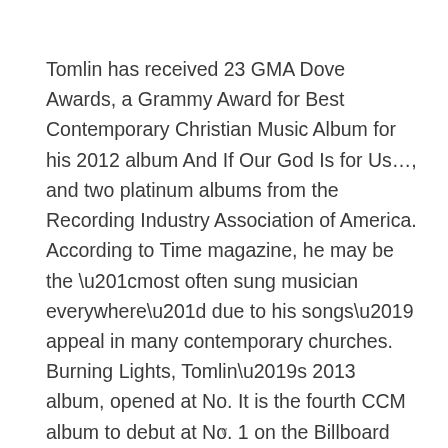Tomlin has received 23 GMA Dove Awards, a Grammy Award for Best Contemporary Christian Music Album for his 2012 album And If Our God Is for Us…, and two platinum albums from the Recording Industry Association of America. According to Time magazine, he may be the “most often sung musician everywhere” due to his songs’ appeal in many contemporary churches. Burning Lights, Tomlin’s 2013 album, opened at No. It is the fourth CCM album to debut at No. 1 on the Billboard 200 chart.
v